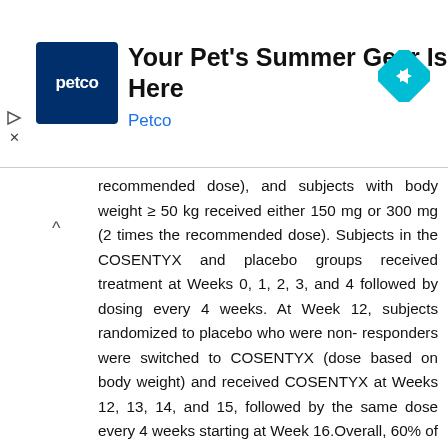[Figure (other): Petco advertisement banner with logo and text 'Your Pet's Summer Gear Is Here' and navigation icons]
recommended dose), and subjects with body weight ≥ 50 kg received either 150 mg or 300 mg (2 times the recommended dose). Subjects in the COSENTYX and placebo groups received treatment at Weeks 0, 1, 2, 3, and 4 followed by dosing every 4 weeks. At Week 12, subjects randomized to placebo who were non-responders were switched to COSENTYX (dose based on body weight) and received COSENTYX at Weeks 12, 13, 14, and 15, followed by the same dose every 4 weeks starting at Week 16.Overall, 60% of the subjects were female, 83% were Caucasian, the median body weight was 50.6 kg, and the mean age was 13.5 years with 23% of the subjects < 12 years. At baseline, the median PASI score was 26 (ranged from 17 to 60), and 99% of the subjects had an IGA modified 2011 score of 4 ('severe'). Approximately 43% of the subjects had prior exposure to phototherapy, 53% to conventional systemic therapy, 3% to biologics, and 9% had